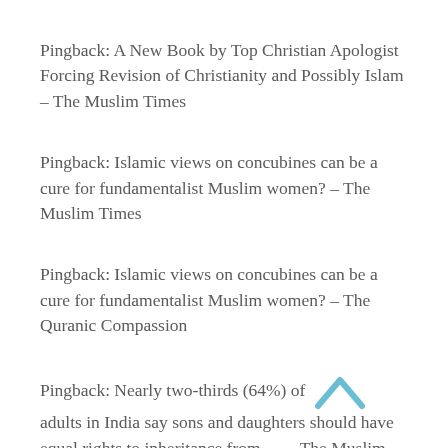Pingback: A New Book by Top Christian Apologist Forcing Revision of Christianity and Possibly Islam – The Muslim Times
Pingback: Islamic views on concubines can be a cure for fundamentalist Muslim women? – The Muslim Times
Pingback: Islamic views on concubines can be a cure for fundamentalist Muslim women? – The Quranic Compassion
Pingback: Nearly two-thirds (64%) of adults in India say sons and daughters should have equal rights to inheritance from … – The Muslim Times